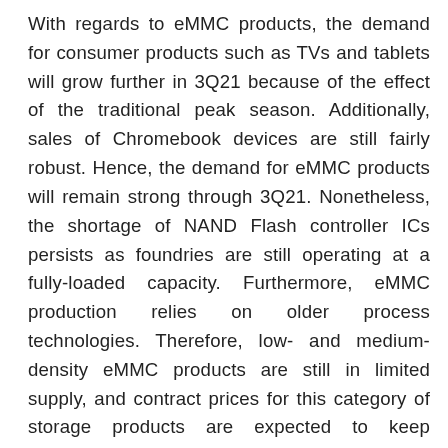With regards to eMMC products, the demand for consumer products such as TVs and tablets will grow further in 3Q21 because of the effect of the traditional peak season. Additionally, sales of Chromebook devices are still fairly robust. Hence, the demand for eMMC products will remain strong through 3Q21. Nonetheless, the shortage of NAND Flash controller ICs persists as foundries are still operating at a fully-loaded capacity. Furthermore, eMMC production relies on older process technologies. Therefore, low- and medium-density eMMC products are still in limited supply, and contract prices for this category of storage products are expected to keep climbing. It should be pointed out that low-density eMMC products already underwent a considerable price hike that bordered on what the purchasing side considered unacceptable in 2Q21, so the room for further price hikes is limited. TrendForce